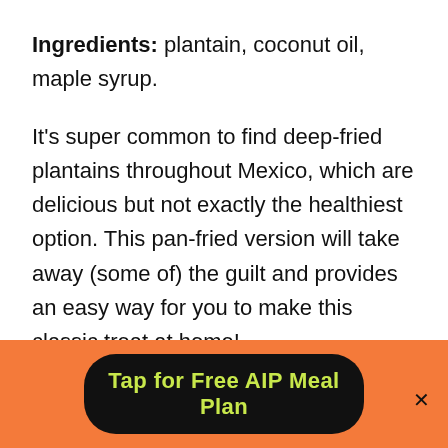Ingredients: plantain, coconut oil, maple syrup.
It's super common to find deep-fried plantains throughout Mexico, which are delicious but not exactly the healthiest option. This pan-fried version will take away (some of) the guilt and provides an easy way for you to make this classic treat at home!
Tap for Free AIP Meal Plan